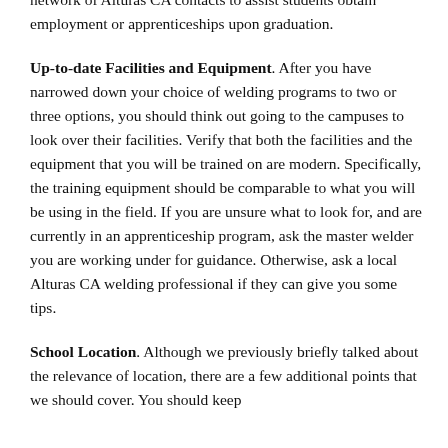network of Alturas CA contacts to assist students obtain employment or apprenticeships upon graduation.
Up-to-date Facilities and Equipment. After you have narrowed down your choice of welding programs to two or three options, you should think out going to the campuses to look over their facilities. Verify that both the facilities and the equipment that you will be trained on are modern. Specifically, the training equipment should be comparable to what you will be using in the field. If you are unsure what to look for, and are currently in an apprenticeship program, ask the master welder you are working under for guidance. Otherwise, ask a local Alturas CA welding professional if they can give you some tips.
School Location. Although we previously briefly talked about the relevance of location, there are a few additional points that we should cover. You should keep